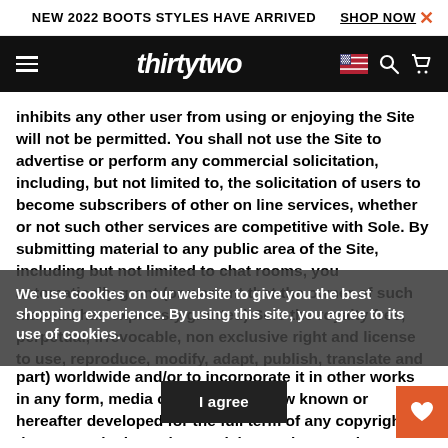NEW 2022 BOOTS STYLES HAVE ARRIVED   SHOP NOW   ×
[Figure (logo): ThirtyTwo brand logo with hamburger menu, US flag, search and cart icons on black nav bar]
inhibits any other user from using or enjoying the Site will not be permitted. You shall not use the Site to advertise or perform any commercial solicitation, including, but not limited to, the solicitation of users to become subscribers of other on line services, whether or not such other services are competitive with Sole. By submitting material to any public area of the Site, including but not limited to chat rooms, you automatically grant (or warrant that the owner of such material has expressly granted) Sole the royalty free, perpetual, irrevocable, non exclusive right and license to use, reproduce, modify, adapt, publish, translate and distribute such material (in whole or in part) worldwide and/or to incorporate it in other works in any form, media or technology now known or hereafter developed for the full term of any copyright that may exist in such material. You also permit any other user to access, view, store or reproduce the material for that user's personal use. You hereby
We use cookies on our website to give you the best shopping experience. By using this site, you agree to its use of cookies.